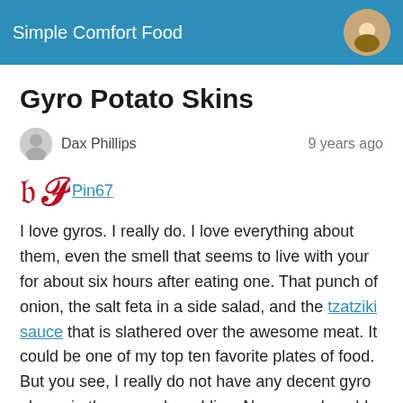Simple Comfort Food
Gyro Potato Skins
Dax Phillips   9 years ago
Pin67
I love gyros. I really do. I love everything about them, even the smell that seems to live with your for about six hours after eating one. That punch of onion, the salt feta in a side salad, and the tzatziki sauce that is slathered over the awesome meat. It could be one of my top ten favorite plates of food. But you see, I really do not have any decent gyro places in the area where I live. Now sure, I could drive ten miles away and feed my desire for that great sandwich, but at the end of the day, I'm too tired to even consider that. So what is a man to do? Well, make my own